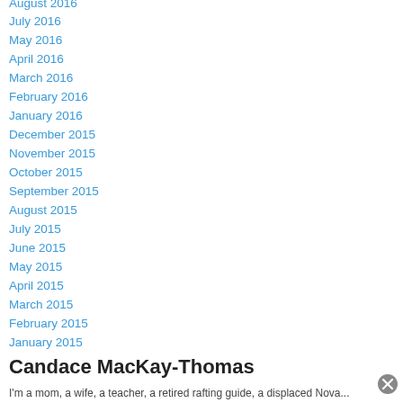August 2016
July 2016
May 2016
April 2016
March 2016
February 2016
January 2016
December 2015
November 2015
October 2015
September 2015
August 2015
July 2015
June 2015
May 2015
April 2015
March 2015
February 2015
January 2015
Candace MacKay-Thomas
I'm a mom, a wife, a teacher, a retired rafting guide, a displaced Nova...